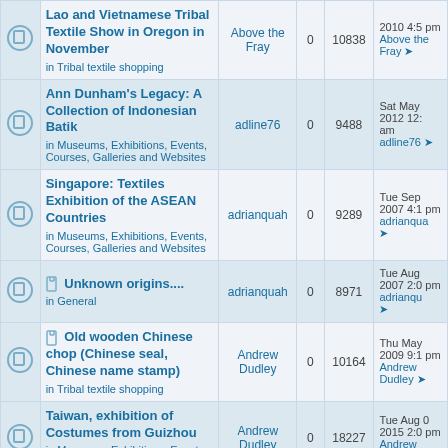|  | Topic | Author | Replies | Views | Last Post |
| --- | --- | --- | --- | --- | --- |
| icon | Lao and Vietnamese Tribal Textile Show in Oregon in November
in Tribal textile shopping | Above the Fray | 0 | 10838 | 2010 4:5 pm
Above the Fray |
| icon | Ann Dunham's Legacy: A Collection of Indonesian Batik
in Museums, Exhibitions, Events, Courses, Galleries and Websites | adline76 | 0 | 9488 | Sat May 2012 12: am
adline76 |
| icon | Singapore: Textiles Exhibition of the ASEAN Countries
in Museums, Exhibitions, Events, Courses, Galleries and Websites | adrianquah | 0 | 9289 | Tue Sep 2007 4:1 pm
adrianquah |
| icon | [attach] Unknown origins....
in General | adrianquah | 0 | 8971 | Tue Aug 2007 2:0 pm
adrianquah |
| icon | [attach] Old wooden Chinese chop (Chinese seal, Chinese name stamp)
in Tribal textile shopping | Andrew Dudley | 0 | 10164 | Thu May 2009 9:1 pm
Andrew Dudley |
| icon | Taiwan, exhibition of Costumes from Guizhou
in Museums, Exhibitions, Events, Courses, Galleries and Websites | Andrew Dudley | 0 | 18227 | Tue Aug 0 2015 2:0 pm
Andrew Dudley |